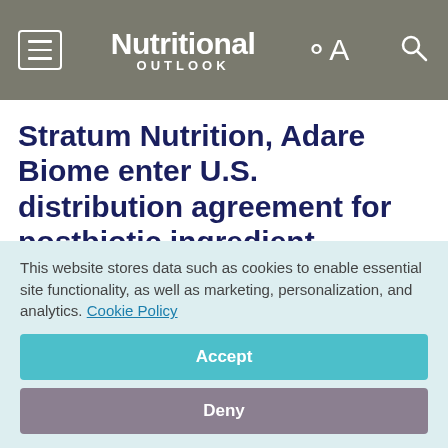Nutritional OUTLOOK
Stratum Nutrition, Adare Biome enter U.S. distribution agreement for postbiotic ingredient
March 12, 2021
This website stores data such as cookies to enable essential site functionality, as well as marketing, personalization, and analytics. Cookie Policy
Accept
Deny